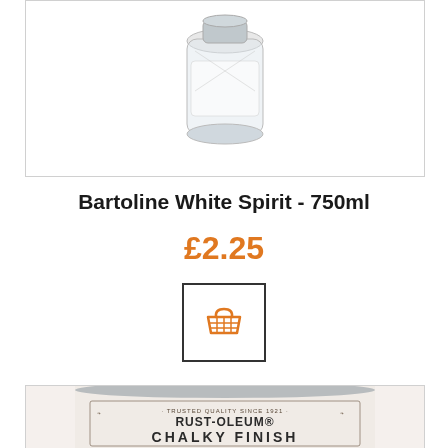[Figure (photo): Bartoline White Spirit 750ml bottle product image on white background with light grey border]
Bartoline White Spirit - 750ml
£2.25
[Figure (other): Add to basket button icon - orange shopping basket icon inside a square border]
[Figure (photo): Rust-Oleum Chalky Finish paint tin product image - cream/white tin with decorative label reading TRUSTED QUALITY SINCE 1921 RUST-OLEUM CHALKY FINISH]